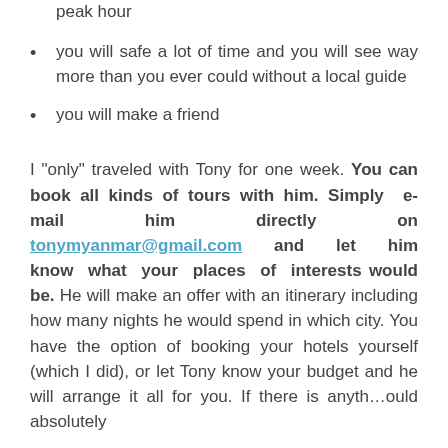peak hour
you will safe a lot of time and you will see way more than you ever could without a local guide
you will make a friend
I “only” traveled with Tony for one week. You can book all kinds of tours with him. Simply e-mail him directly on tonymyanmar@gmail.com and let him know what your places of interests would be. He will make an offer with an itinerary including how many nights he would spend in which city. You have the option of booking your hotels yourself (which I did), or let Tony know your budget and he will arrange it all for you. If there is anyth…ould absolutely